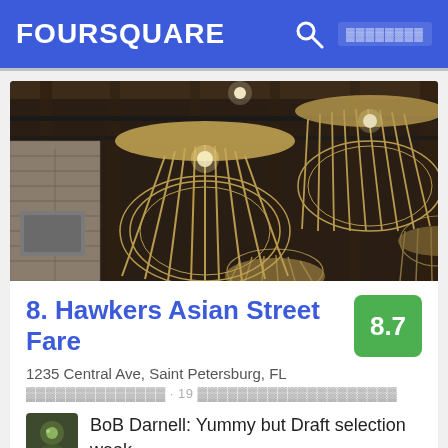FOURSQUARE
[Figure (photo): Interior restaurant photo showing woven rattan pendant lights hanging from a wooden beam ceiling with brick wall]
8. Hawkers Asian Street Fare
1235 Central Ave, Saint Petersburg, FL
19
BoB Darnell: Yummy but Draft selection weak.